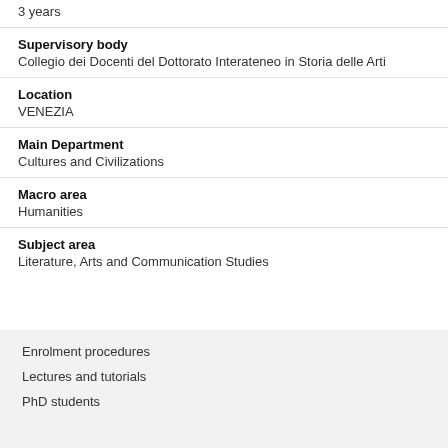3 years
Supervisory body
Collegio dei Docenti del Dottorato Interateneo in Storia delle Arti
Location
VENEZIA
Main Department
Cultures and Civilizations
Macro area
Humanities
Subject area
Literature, Arts and Communication Studies
Enrolment procedures
Lectures and tutorials
PhD students